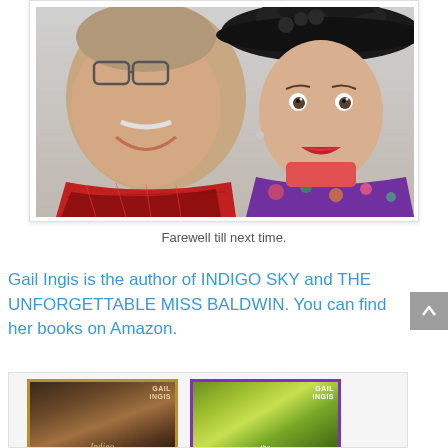[Figure (photo): Selfie photo of two people: a man with glasses, white mustache, and red plaid scarf on the left, and a woman wearing a large black decorative hat and colorful floral scarf on the right. Background appears to be outdoors with a white/light sky.]
Farewell till next time.
Gail Ingis is the author of INDIGO SKY and THE UNFORGETTABLE MISS BALDWIN. You can find her books on Amazon.
[Figure (photo): Two book covers side by side: left is 'Indigo Sky' by Gail Ingis with a dark moody cover featuring a woman, right is 'The Unforgettable Miss Baldwin' by Gail Ingis with a purple-bordered cover featuring a woman in a blue dress.]